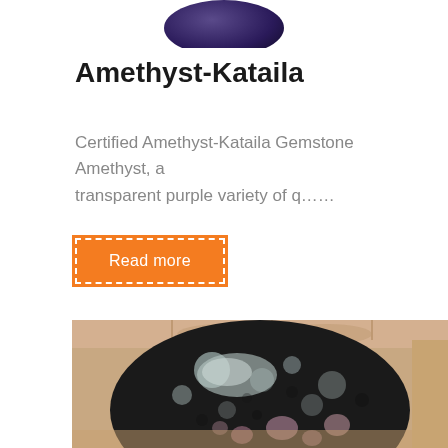[Figure (photo): Partial view of a dark purple amethyst gemstone at top of page]
Amethyst-Kataila
Certified Amethyst-Kataila Gemstone Amethyst, a transparent purple variety of q……
Read more
[Figure (photo): A dark grey/black speckled polished gemstone cabochon being held in fingers, showing white and pinkish-purple spots on black matrix]